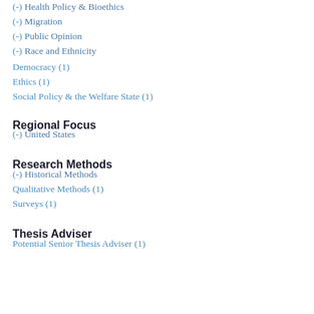(-) Health Policy & Bioethics
(-) Migration
(-) Public Opinion
(-) Race and Ethnicity
Democracy (1)
Ethics (1)
Social Policy & the Welfare State (1)
Regional Focus
(-) United States
Research Methods
(-) Historical Methods
Qualitative Methods (1)
Surveys (1)
Thesis Adviser
Potential Senior Thesis Adviser (1)